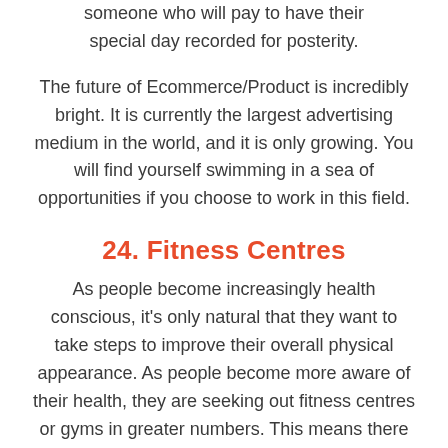someone who will pay to have their special day recorded for posterity.
The future of Ecommerce/Product is incredibly bright. It is currently the largest advertising medium in the world, and it is only growing. You will find yourself swimming in a sea of opportunities if you choose to work in this field.
24. Fitness Centres
As people become increasingly health conscious, it's only natural that they want to take steps to improve their overall physical appearance. As people become more aware of their health, they are seeking out fitness centres or gyms in greater numbers. This means there will be an increased need for more